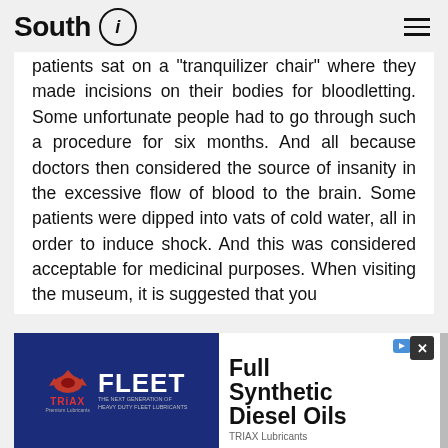South i
patients sat on a "tranquilizer chair" where they made incisions on their bodies for bloodletting. Some unfortunate people had to go through such a procedure for six months. And all because doctors then considered the source of insanity in the excessive flow of blood to the brain. Some patients were dipped into vats of cold water, all in order to induce shock. And this was considered acceptable for medicinal purposes. When visiting the museum, it is suggested that you
[Figure (infographic): Advertisement for TRIAX Fleet Full Synthetic Diesel Oils lubricants with logo and product text]